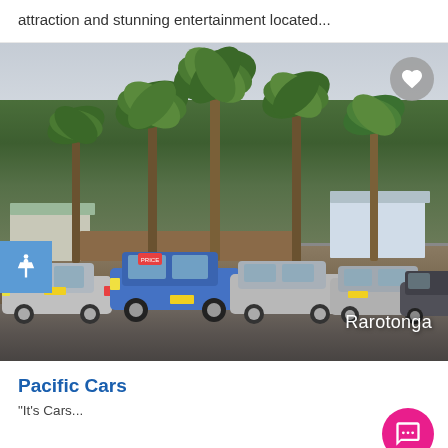attraction and stunning entertainment located...
[Figure (photo): A car rental lot with multiple small cars parked in a row (silver and blue hatchbacks), backed by tall palm trees and tropical vegetation, with houses visible in the background. Location label 'Rarotonga' in bottom right corner. Blue accessibility icon button on left side, heart favorite button in top right corner.]
Pacific Cars
"It's Cars...